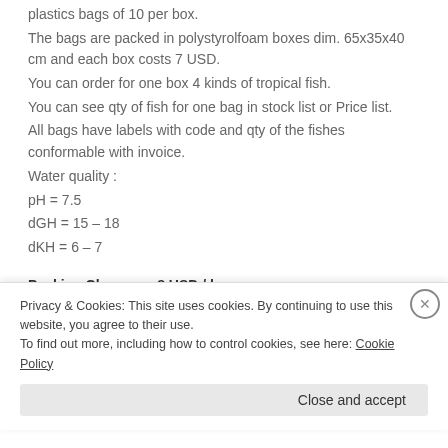plastics bags of 10 per box.
The bags are packed in polystyrolfoam boxes dim. 65x35x40 cm and each box costs 7 USD.
You can order for one box 4 kinds of tropical fish.
You can see qty of fish for one bag in stock list or Price list.
All bags have labels with code and qty of the fishes conformable with invoice.
Water quality :
pH = 7.5
dGH = 15 – 18
dKH = 6 – 7
Packing Charge :: 8 USD / box
:: Heat pack charge 1.5 USD / box (if any)
– Shipping & Handling fee : 95 USD per shipment.
Privacy & Cookies: This site uses cookies. By continuing to use this website, you agree to their use.
To find out more, including how to control cookies, see here: Cookie Policy
Close and accept